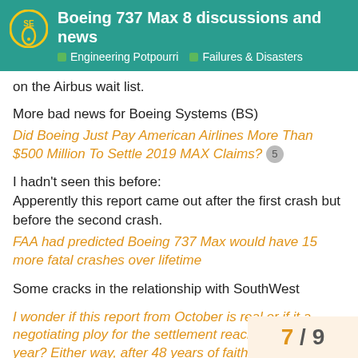Boeing 737 Max 8 discussions and news — Engineering Potpourri | Failures & Disasters
on the Airbus wait list.
More bad news for Boeing Systems (BS)
Did Boeing Just Pay American Airlines More Than $500 Million To Settle 2019 MAX Claims? 5
I hadn't seen this before:
Apperently this report came out after the first crash but before the second crash.
FAA had predicted Boeing 737 Max would have 15 more fatal crashes over lifetime
Some cracks in the relationship with SouthWest
I wonder if this report from October is real or if it a negotiating ploy for the settlement reached later in the year? Either way, after 48 years of faithful togetherness it's a kick in the jewels.
Show me the money!
Southwest Airlines reaches settlement with
7 / 9